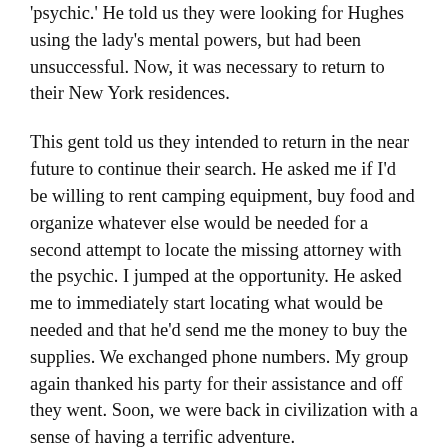'psychic.' He told us they were looking for Hughes using the lady's mental powers, but had been unsuccessful. Now, it was necessary to return to their New York residences.
This gent told us they intended to return in the near future to continue their search. He asked me if I'd be willing to rent camping equipment, buy food and organize whatever else would be needed for a second attempt to locate the missing attorney with the psychic. I jumped at the opportunity. He asked me to immediately start locating what would be needed and that he'd send me the money to buy the supplies. We exchanged phone numbers. My group again thanked his party for their assistance and off they went. Soon, we were back in civilization with a sense of having a terrific adventure.
The next week, I searched stores selling camping and expedition equipment. The gent called me. He asked if I